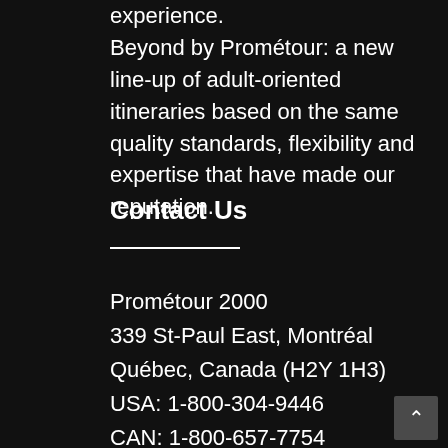experience.
Beyond by Prométour: a new line-up of adult-oriented itineraries based on the same quality standards, flexibility and expertise that have made our reputation.
Contact Us
Prométour 2000
339 St-Paul East, Montréal
Québec, Canada (H2Y 1H3)
USA: 1-800-304-9446
CAN: 1-800-657-7754